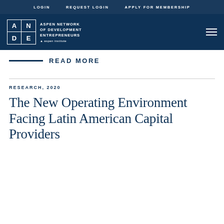LOGIN   REQUEST LOGIN   APPLY FOR MEMBERSHIP
[Figure (logo): ANDE – Aspen Network of Development Entrepreneurs / Aspen Institute logo on dark blue header with hamburger menu]
READ MORE
RESEARCH, 2020
The New Operating Environment Facing Latin American Capital Providers